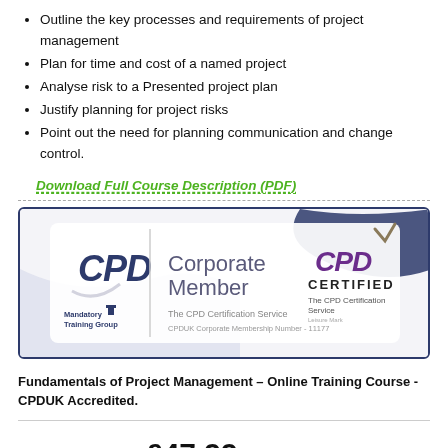Outline the key processes and requirements of project management
Plan for time and cost of a named project
Analyse risk to a Presented project plan
Justify planning for project risks
Point out the need for planning communication and change control.
Download Full Course Description (PDF)
[Figure (logo): CPD Corporate Member certification badge showing Mandatory Training Group logo, CPD logo, 'Corporate Member' text, 'The CPD Certification Service', CPDUK Corporate Membership Number - 11177, and CPD Certified The CPD Certification Service logo]
Fundamentals of Project Management – Online Training Course - CPDUK Accredited.
£47.99 (inc VAT)